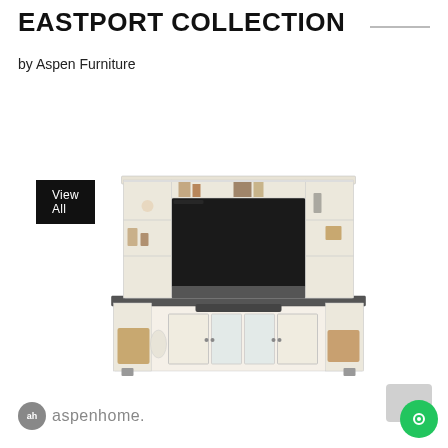EASTPORT COLLECTION
by Aspen Furniture
View All
[Figure (photo): White entertainment center/wall unit from the Eastport Collection by Aspen Furniture. Features a large central opening with a flat-screen TV, open shelving on both sides and above, cabinet doors with glass panels at the bottom center, and a dark charcoal top surface contrasting with the white painted wood body.]
[Figure (logo): aspenhome logo with circular 'ah' icon in grey and the word 'aspenhome.' in grey text]